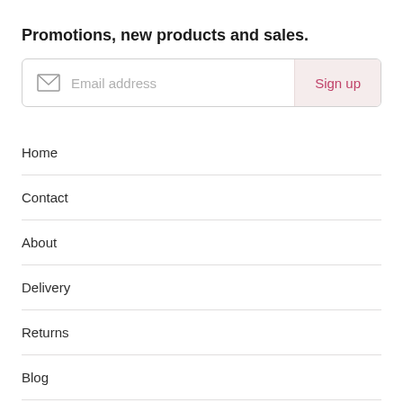Promotions, new products and sales.
[Figure (other): Email signup form with envelope icon, 'Email address' placeholder text, and a 'Sign up' button on the right]
Home
Contact
About
Delivery
Returns
Blog